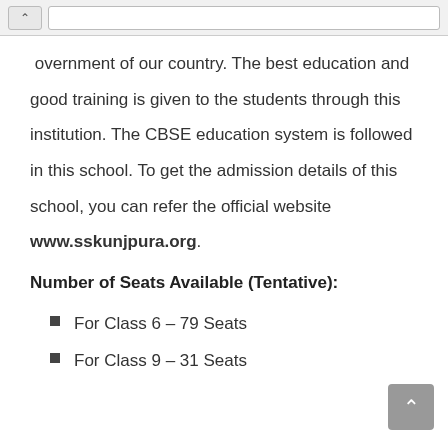Government of our country. The best education and good training is given to the students through this institution. The CBSE education system is followed in this school. To get the admission details of this school, you can refer the official website www.sskunjpura.org.
Number of Seats Available (Tentative):
For Class 6 – 79 Seats
For Class 9 – 31 Seats